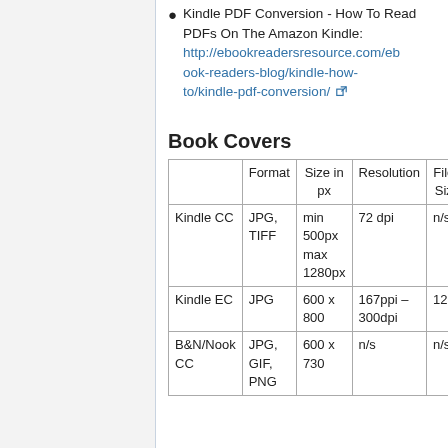Kindle PDF Conversion - How To Read PDFs On The Amazon Kindle: http://ebookreadersresource.com/ebook-readers-blog/kindle-how-to/kindle-pdf-conversion/
Book Covers
|  | Format | Size in px | Resolution | File Size |
| --- | --- | --- | --- | --- |
| Kindle CC | JPG, TIFF | min 500px max 1280px | 72 dpi | n/s |
| Kindle EC | JPG | 600 x 800 | 167ppi – 300dpi | 127 |
| B&N/Nook CC | JPG, GIF, PNG | 600 x 730 | n/s | n/s |